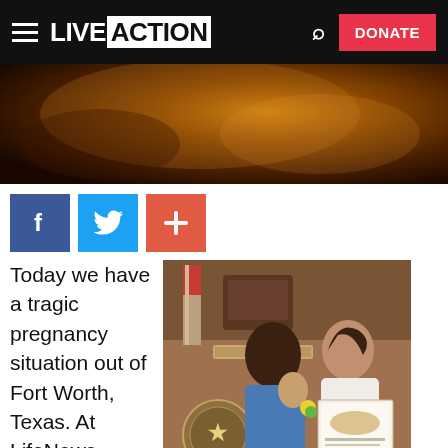LIVE ACTION — DONATE
[Figure (photo): Dark warm-toned abstract background image, brown and amber tones]
[Figure (other): Social share buttons: Facebook (blue), Twitter (light blue), Plus/add (red-orange)]
Today we have a tragic pregnancy situation out of Fort Worth, Texas. At LifeNews, Rachel Ca...
[Figure (photo): A man in a blue polo shirt holds a baby while a woman in a white top holds an official document/certificate. They are standing in what appears to be a courthouse or government office with wooden paneling and an American flag in the background. A Texas state seal is visible on the podium.]